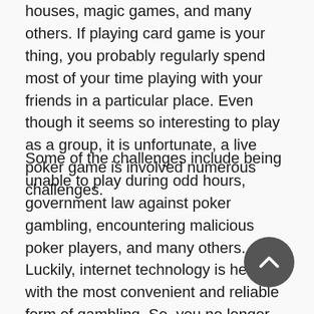houses, magic games, and many others. If playing card game is your thing, you probably regularly spend most of your time playing with your friends in a particular place. Even though it seems so interesting to play as a group, it is unfortunate, a live poker game is involved numerous challenges.
Some of the challenges include being unable to play during odd hours, government law against poker gambling, encountering malicious poker players, and many others. Luckily, internet technology is here with the most convenient and reliable form of gambling. So, you no longer have to worry about these challenges. All you have to do is register with any official online poker site and start enjoying exciting games like online pkv games. Here are the advantages of playing poker games online: